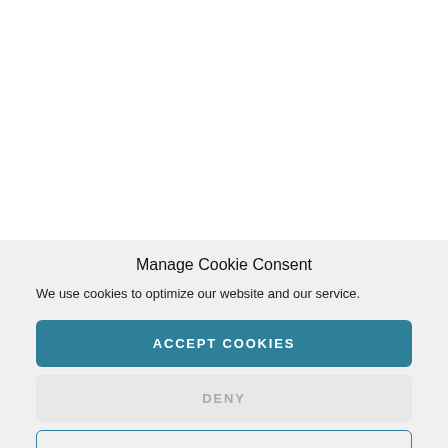[Figure (stacked-bar-chart): Stacked bar chart showing total hits to the Deflect network divided by user agent over time (per 12 hours). Multiple colored series (purple, green, red, blue, yellow/olive) showing traffic patterns. X-axis shows timestamps, y-axis shows hit counts up to approximately 15,000,000.]
Total hits to the Deflect network div user agent: while most of the conn
Manage Cookie Consent
We use cookies to optimize our website and our service.
ACCEPT COOKIES
DENY
VIEW PREFERENCES